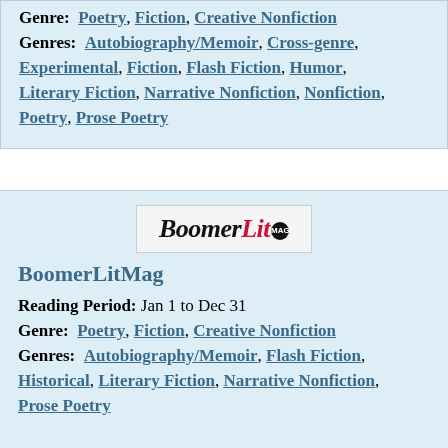Genre: Poetry, Fiction, Creative Nonfiction
Genres: Autobiography/Memoir, Cross-genre, Experimental, Fiction, Flash Fiction, Humor, Literary Fiction, Narrative Nonfiction, Nonfiction, Poetry, Prose Poetry
[Figure (logo): BoomerLit Mag logo with black and red text on light gray background]
BoomerLitMag
Reading Period: Jan 1 to Dec 31
Genre: Poetry, Fiction, Creative Nonfiction
Genres: Autobiography/Memoir, Flash Fiction, Historical, Literary Fiction, Narrative Nonfiction, Prose Poetry